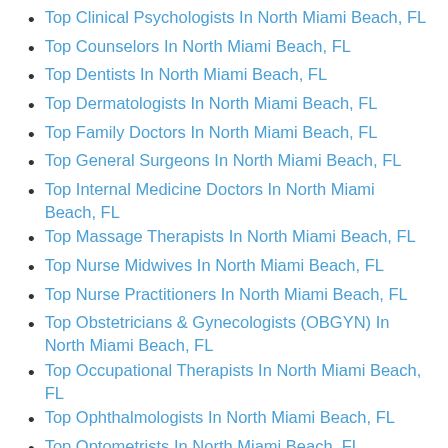Top Clinical Psychologists In North Miami Beach, FL
Top Counselors In North Miami Beach, FL
Top Dentists In North Miami Beach, FL
Top Dermatologists In North Miami Beach, FL
Top Family Doctors In North Miami Beach, FL
Top General Surgeons In North Miami Beach, FL
Top Internal Medicine Doctors In North Miami Beach, FL
Top Massage Therapists In North Miami Beach, FL
Top Nurse Midwives In North Miami Beach, FL
Top Nurse Practitioners In North Miami Beach, FL
Top Obstetricians & Gynecologists (OBGYN) In North Miami Beach, FL
Top Occupational Therapists In North Miami Beach, FL
Top Ophthalmologists In North Miami Beach, FL
Top Optometrists In North Miami Beach, FL
Top Pediatricians In North Miami Beach, FL
Top Physical Therapists In North Miami Beach, FL
Top Podiatrists In North Miami Beach, FL